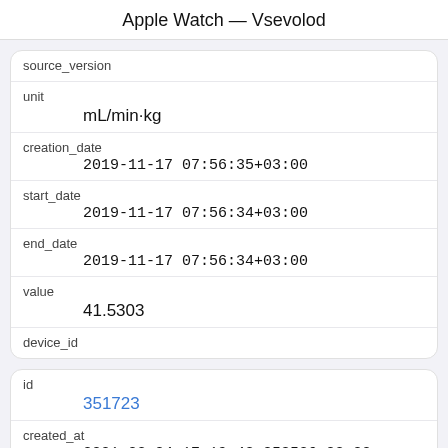Apple Watch — Vsevolod
| source_version |  |
| unit | mL/min·kg |
| creation_date | 2019-11-17 07:56:35+03:00 |
| start_date | 2019-11-17 07:56:34+03:00 |
| end_date | 2019-11-17 07:56:34+03:00 |
| value | 41.5303 |
| device_id |  |
| id | 351723 |
| created_at | 2021-03-04 17:19:43.058536+03:00 |